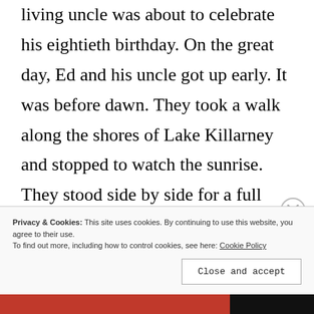living uncle was about to celebrate his eightieth birthday. On the great day, Ed and his uncle got up early. It was before dawn. They took a walk along the shores of Lake Killarney and stopped to watch the sunrise. They stood side by side for a full twenty minutes and then resumed walking. Ed glanced at his uncle and saw that his face had broken into a broad smile. Ed said, “Uncle Seamus, you look very happy.” “I am.”
Privacy & Cookies: This site uses cookies. By continuing to use this website, you agree to their use.
To find out more, including how to control cookies, see here: Cookie Policy
Close and accept